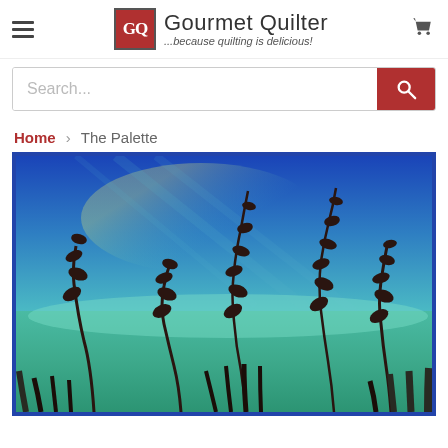Gourmet Quilter — ...because quilting is delicious!
Search...
Home > The Palette
[Figure (photo): Quilt art piece titled 'The Palette' showing a landscape scene with a blue-green sky and silhouetted dark leaf stems and grass blades along the bottom, set against a teal and green lower portion, bordered in dark blue.]